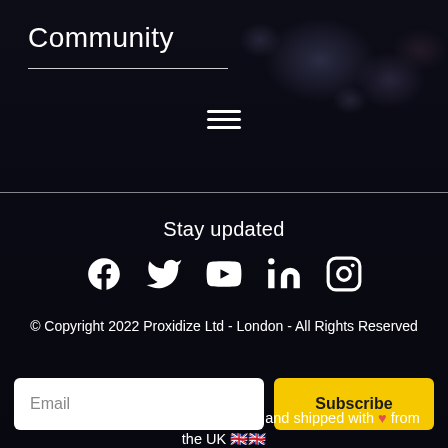Community
[Figure (other): Hamburger menu icon (three horizontal lines)]
Stay updated
[Figure (other): Social media icons row: Facebook, Twitter, YouTube, LinkedIn, Instagram]
© Copyright 2022 Proxidize Ltd - London - All Rights Reserved
[Figure (other): Email input field with placeholder 'Email' and yellow Subscribe button]
All Proxidize hardware is assembled and shipped with ♥ from the UK 🇬🇧🇬🇧